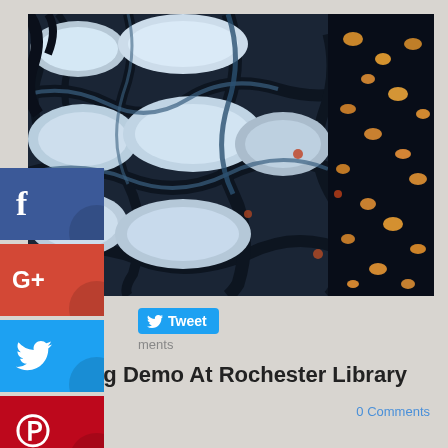[Figure (photo): Close-up painting of white/light-blue cobblestones or rocks with dark blue-black grout/gaps between them, and scattered small pebbles or stones in the darker right portion. Tree branches visible in upper left corner. Impressionistic oil painting style.]
[Figure (screenshot): Social media share buttons sidebar: Facebook (blue), Google+ (red), Twitter (light blue), Pinterest (dark red), Blogger (orange)]
Tweet
ments
Painting Demo At Rochester Library
018
0 Comments